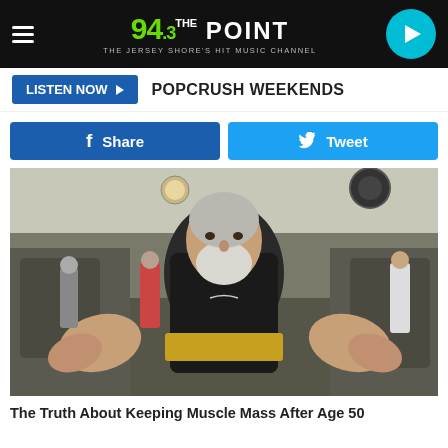94.3 THE POINT — THE JERSEY SHORE'S HIT MUSIC CHANNEL
LISTEN NOW ▶   POPCRUSH WEEKENDS
Share   Tweet
[Figure (photo): Elderly muscular man with white beard wearing black Nike compression shirt and gold weightlifting belt, standing in a gym with arms spread wide showing large muscular forearms and biceps, other gym members visible in background with weight machines]
The Truth About Keeping Muscle Mass After Age 50